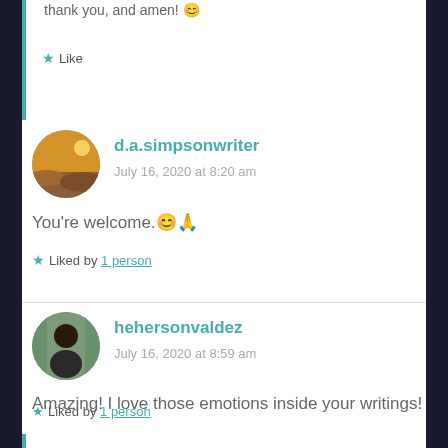thank you, and amen! 😊
Like
d.a.simpsonwriter
July 16, 2020 at 8:20 am
You're welcome.😊🙏
Liked by 1 person
hehersonvaldez
July 16, 2020 at 8:59 am
Amazing! I love those emotions inside your writings!
Liked by 1 person